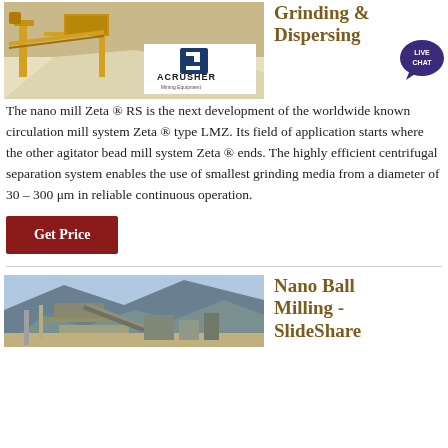[Figure (photo): Industrial mining/grinding equipment facility with yellow machinery and white material piles; overlaid with ACRUSHER Mining Equipment logo]
Grinding & Dispersing
The nano mill Zeta ® RS is the next development of the worldwide known circulation mill system Zeta ® type LMZ. Its field of application starts where the other agitator bead mill system Zeta ® ends. The highly efficient centrifugal separation system enables the use of smallest grinding media from a diameter of 30 – 300 μm in reliable continuous operation.
[Figure (logo): Live Chat bubble icon with text LIVE CHAT]
Get Price
[Figure (photo): Industrial milling facility near mountains with conveyor belts and processing equipment]
Nano Ball Milling - SlideShare